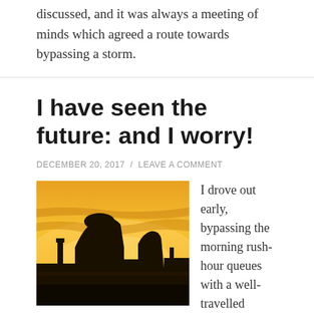They laid all possibilities out, all possible routes were discussed, and it was always a meeting of minds which agreed a route towards bypassing a storm.
I have seen the future: and I worry!
DECEMBER 20, 2017 / LEAVE A COMMENT
[Figure (photo): A golden sunset cityscape with silhouettes of domed buildings and rooftops against an orange and yellow sky.]
I drove out early, bypassing the morning rush-hour queues with a well-travelled shortcut; pausing only to marvel at